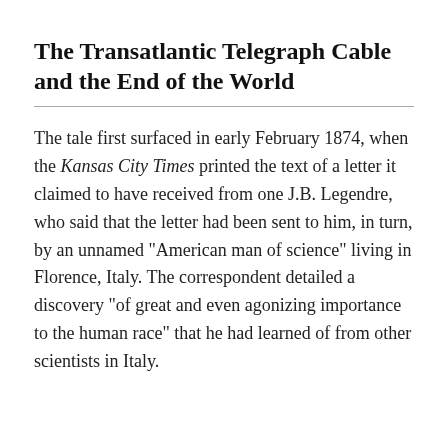The Transatlantic Telegraph Cable and the End of the World
The tale first surfaced in early February 1874, when the Kansas City Times printed the text of a letter it claimed to have received from one J.B. Legendre, who said that the letter had been sent to him, in turn, by an unnamed "American man of science" living in Florence, Italy. The correspondent detailed a discovery "of great and even agonizing importance to the human race" that he had learned of from other scientists in Italy.